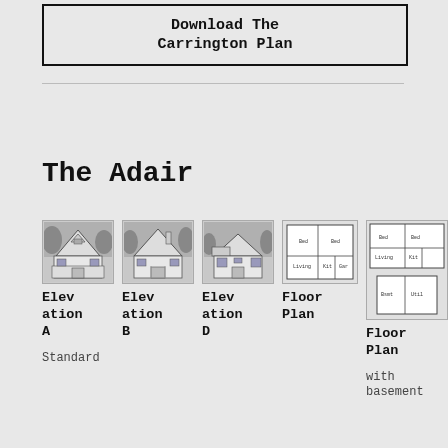Download The Carrington Plan
The Adair
[Figure (illustration): Elevation A thumbnail - house front view sketch]
Elevation A
[Figure (illustration): Elevation B thumbnail - house front view sketch]
Elevation B
[Figure (illustration): Elevation D thumbnail - house front view sketch]
Elevation D
[Figure (schematic): Floor Plan thumbnail - standard floor plan diagram]
Floor Plan
Standard
[Figure (schematic): Floor Plan with basement thumbnail - floor plan diagram]
Floor Plan
with basement